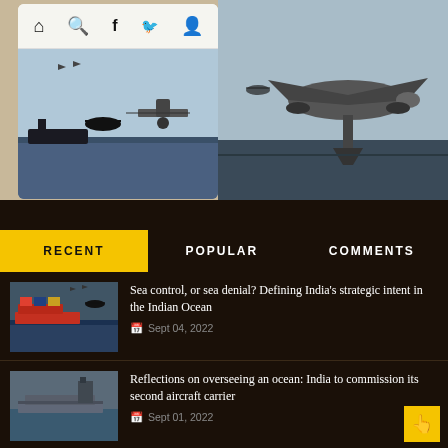[Figure (screenshot): Top banner showing mobile phone mockup with navigation icons (home, search, facebook, twitter, profile) and illustration of military aircraft/drones over ocean, alongside larger military drone illustration on right side]
RECENT | POPULAR | COMMENTS
Sea control, or sea denial? Defining India's strategic intent in the Indian Ocean — Sept 04, 2022
Reflections on overseeing an ocean: India to commission its second aircraft carrier — Sept 01, 2022
Tejas Mark 2 fighter to get cabinet sanction this week — Aug 29, 2022